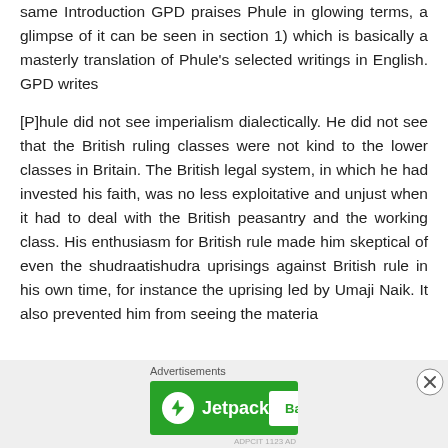same Introduction GPD praises Phule in glowing terms, a glimpse of it can be seen in section 1) which is basically a masterly translation of Phule's selected writings in English. GPD writes
[P]hule did not see imperialism dialectically. He did not see that the British ruling classes were not kind to the lower classes in Britain. The British legal system, in which he had invested his faith, was no less exploitative and unjust when it had to deal with the British peasantry and the working class. His enthusiasm for British rule made him skeptical of even the shudraatishudra uprisings against British rule in his own time, for instance the uprising led by Umaji Naik. It also prevented him from seeing the materia
[Figure (other): Jetpack advertisement banner with 'Back up your site' button and close button overlay]